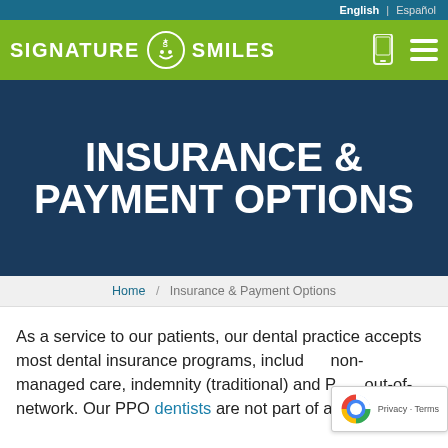English | Español
[Figure (logo): Signature Smiles logo with green background, white text, and circular badge icon]
INSURANCE & PAYMENT OPTIONS
Home / Insurance & Payment Options
As a service to our patients, our dental practice accepts most dental insurance programs, including non-managed care, indemnity (traditional) and PPO out-of-network. Our PPO dentists are not part of any